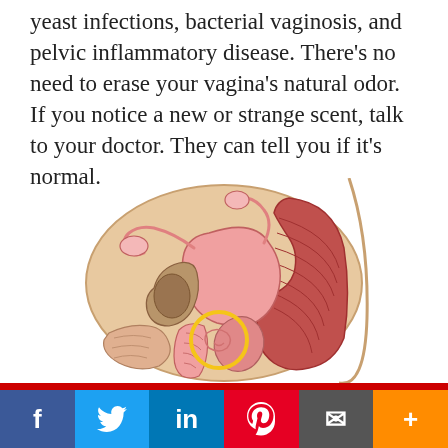yeast infections, bacterial vaginosis, and pelvic inflammatory disease. There's no need to erase your vagina's natural odor. If you notice a new or strange scent, talk to your doctor. They can tell you if it's normal.
[Figure (illustration): Medical illustration of female pelvic anatomy in cross-section, showing reproductive and digestive organs with a yellow circle highlighting a specific anatomical region.]